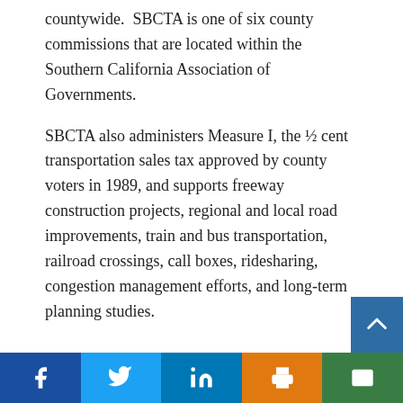countywide.  SBCTA is one of six county commissions that are located within the Southern California Association of Governments.
SBCTA also administers Measure I, the ½ cent transportation sales tax approved by county voters in 1989, and supports freeway construction projects, regional and local road improvements, train and bus transportation, railroad crossings, call boxes, ridesharing, congestion management efforts, and long-term planning studies.